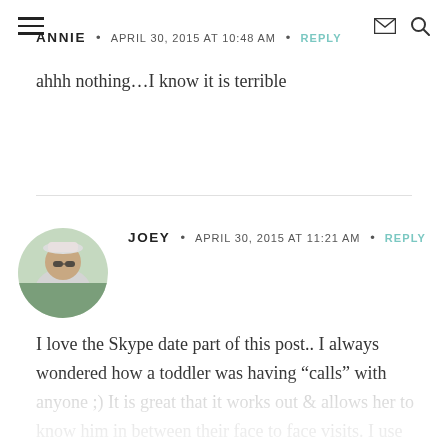navigation header with hamburger menu, envelope icon, and search icon
ANNIE • APRIL 30, 2015 AT 10:48 AM • REPLY
ahhh nothing…I know it is terrible
JOEY • APRIL 30, 2015 AT 11:21 AM • REPLY
I love the Skype date part of this post.. I always wondered how a toddler was having “calls” with anyone ;) It is great that it works out & allows her to know him in between their face to face visits. I use